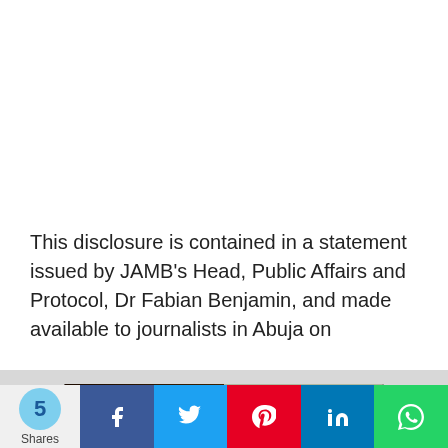This disclosure is contained in a statement issued by JAMB's Head, Public Affairs and Protocol, Dr Fabian Benjamin, and made available to journalists in Abuja on
[Figure (screenshot): An advertisement banner for 'Hold and Move' app/game. Dark background on left with tree silhouettes, grey winter trees on right, game score display at top center, and three person icons in cyan. White close button with question mark and X at top right.]
[Figure (infographic): Social share bar showing 5 Shares count bubble in light blue, followed by Facebook (blue), Twitter (light blue), Pinterest (red), LinkedIn (blue), and WhatsApp (green) share buttons with their respective icons.]